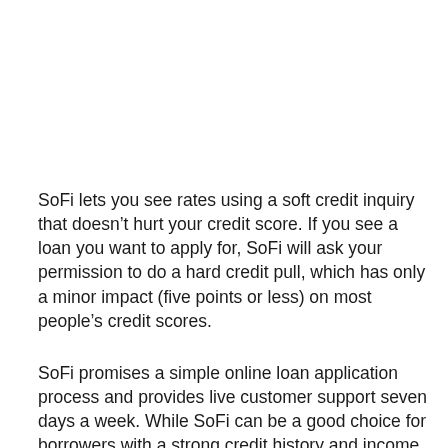SoFi lets you see rates using a soft credit inquiry that doesn't hurt your credit score. If you see a loan you want to apply for, SoFi will ask your permission to do a hard credit pull, which has only a minor impact (five points or less) on most people's credit scores.
SoFi promises a simple online loan application process and provides live customer support seven days a week. While SoFi can be a good choice for borrowers with a strong credit history and income, it's smart to compare